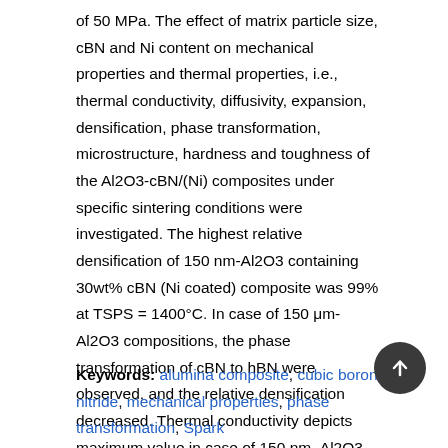of 50 MPa. The effect of matrix particle size, cBN and Ni content on mechanical properties and thermal properties, i.e., thermal conductivity, diffusivity, expansion, densification, phase transformation, microstructure, hardness and toughness of the Al2O3-cBN/(Ni) composites under specific sintering conditions were investigated. The highest relative densification of 150 nm-Al2O3 containing 30wt% cBN (Ni coated) composite was 99% at TSPS = 1400°C. In case of 150 μm- Al2O3 compositions, the phase transformation of cBN to hBN were observed, and the relative densification decreased. Thermal conductivity depicts maximum value in case of 150 nm- Al2O3-30wt% cBN-Ni composition. The Vickers hardness of this composition at TSPS = 1400°C also showed the highest value of 29 GPa.
Keywords: alumina composite, cubic boron nitride, mechanical properties, phase transformation, Spark